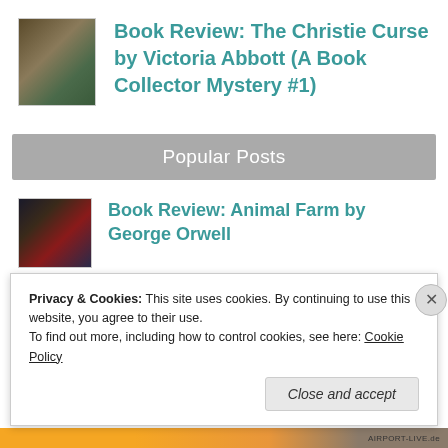[Figure (illustration): Book cover thumbnail for The Christie Curse]
Book Review: The Christie Curse by Victoria Abbott (A Book Collector Mystery #1)
Popular Posts
[Figure (illustration): Book cover thumbnail for Animal Farm by George Orwell]
Book Review: Animal Farm by George Orwell
[Figure (illustration): Book cover thumbnail for Fabulous Fall Reads]
Fabulous Fall Reads
Privacy & Cookies: This site uses cookies. By continuing to use this website, you agree to their use.
To find out more, including how to control cookies, see here: Cookie Policy
Close and accept